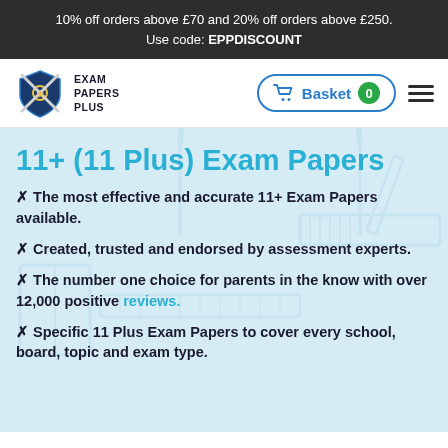10% off orders above £70 and 20% off orders above £250. Use code: EPPDISCOUNT
[Figure (logo): Exam Papers Plus logo with shield and crossed pencils, next to text EXAM PAPERS PLUS, and a Basket button with 0 items and hamburger menu]
11+ (11 Plus) Exam Papers
✦ The most effective and accurate 11+ Exam Papers available.
✦ Created, trusted and endorsed by assessment experts.
✦ The number one choice for parents in the know with over 12,000 positive reviews.
✦ Specific 11 Plus Exam Papers to cover every school, board, topic and exam type.